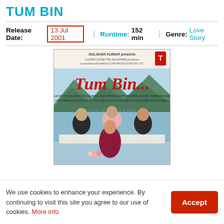TUM BIN
Release Date: 13 Jul 2001  |  Runtime: 152 min  |  Genre: Love Story
[Figure (photo): Movie poster for Tum Bin (2001) showing three male actors and one female actress posed together with a lake and mountains in the background. The title 'Tum Bin...' is written in red cursive script. Text reads 'Love Will Find A Way'.]
We use cookies to enhance your experience. By continuing to visit this site you agree to our use of cookies. More info